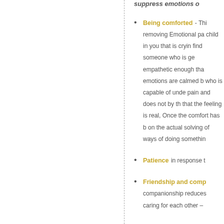suppress emotions o
Being comforted - Thi removing Emotional pa child in you that is cryin find someone who is ge empathetic enough tha emotions are calmed b who is capable of unde pain and does not by th that the feeling is real, Once the comfort has b on the actual solving of ways of doing somethin
Patience in response t
Friendship and comp companionship reduces caring for each other –